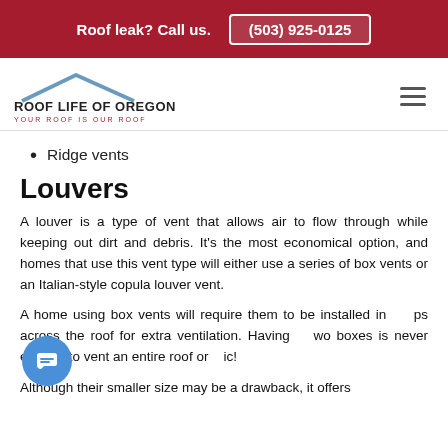Roof leak? Call us. (503) 925-0125
[Figure (logo): Roof Life of Oregon logo with roofline graphic, tagline: YOUR ROOF IS OUR ROOF]
Ridge vents
Louvers
A louver is a type of vent that allows air to flow through while keeping out dirt and debris. It's the most economical option, and homes that use this vent type will either use a series of box vents or an Italian-style copula louver vent.
A home using box vents will require them to be installed in groups across the roof for extra ventilation. Having two boxes is never enough to vent an entire roof or attic!
Although their smaller size may be a drawback, it offers